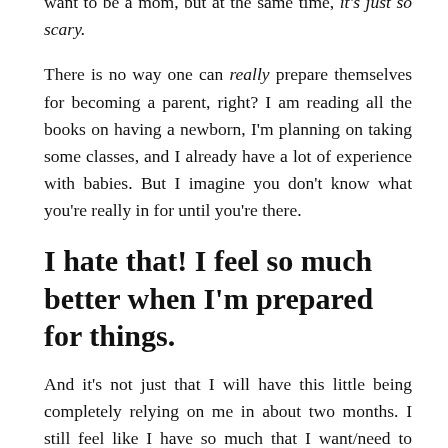I'm excited for my little boy to arrive, really, I am. I want to be a mom, but at the same time, it's just so scary.
There is no way one can really prepare themselves for becoming a parent, right? I am reading all the books on having a newborn, I'm planning on taking some classes, and I already have a lot of experience with babies. But I imagine you don't know what you're really in for until you're there.
I hate that! I feel so much better when I'm prepared for things.
And it's not just that I will have this little being completely relying on me in about two months. I still feel like I have so much that I want/need to accomplish before he gets here. Because, obviously, things we be different once he arrives!
So I want to try to get a lot of stuff out of the way, like home organization. I know that my son will not need our